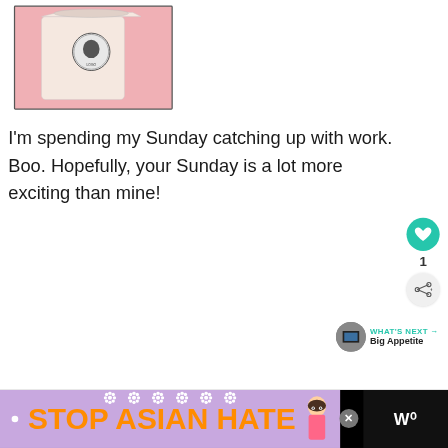[Figure (photo): Photo of a drink cup with a circular logo sticker on a pink background]
I'm spending my Sunday catching up with work. Boo. Hopefully, your Sunday is a lot more exciting than mine!
[Figure (infographic): Like button (heart icon) in teal circle with count of 1 below, and share button]
[Figure (infographic): What's Next section showing thumbnail and label Big Appetite with arrow]
[Figure (infographic): Stop Asian Hate advertisement banner in purple/black with flower decorations and anime character, with X close button]